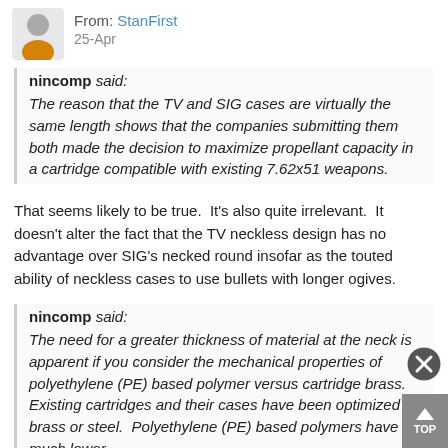[Figure (illustration): User avatar icon with gray head and orange/yellow torso, next to 'From: StanFirst' username in blue and date '25-Apr']
nincomp said: The reason that the TV and SIG cases are virtually the same length shows that the companies submitting them both made the decision to maximize propellant capacity in a cartridge compatible with existing 7.62x51 weapons.
That seems likely to be true.  It's also quite irrelevant.  It doesn't alter the fact that the TV neckless design has no advantage over SIG's necked round insofar as the touted ability of neckless cases to use bullets with longer ogives.
nincomp said: The need for a greater thickness of material at the neck is apparent if you consider the mechanical properties of polyethylene (PE) based polymer versus cartridge brass.  Existing cartridges and their cases have been optimized for brass or steel.  Polyethylene (PE) based polymers have much lower